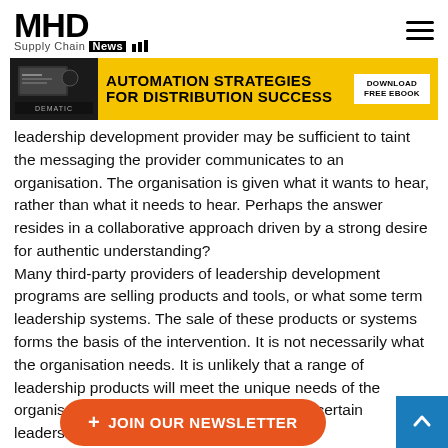MHD Supply Chain News
[Figure (infographic): Banner advertisement: AUTOMATION STRATEGIES FOR DISTRIBUTION SUCCESS - DOWNLOAD FREE EBOOK by DEMATIC]
leadership development provider may be sufficient to taint the messaging the provider communicates to an organisation. The organisation is given what it wants to hear, rather than what it needs to hear. Perhaps the answer resides in a collaborative approach driven by a strong desire for authentic understanding?
Many third-party providers of leadership development programs are selling products and tools, or what some term leadership systems. The sale of these products or systems forms the basis of the intervention. It is not necessarily what the organisation needs. It is unlikely that a range of leadership products will meet the unique needs of the organisation in question. It is not to say that certain leadership development tools are not useful, they... they are not the solution to all leadership needs.